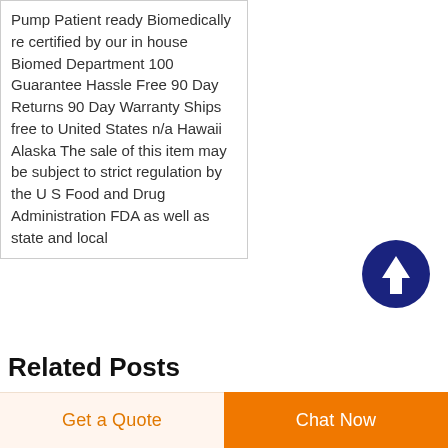Pump Patient ready Biomedically re certified by our in house Biomed Department 100 Guarantee Hassle Free 90 Day Returns 90 Day Warranty Ships free to United States n/a Hawaii Alaska The sale of this item may be subject to strict regulation by the U S Food and Drug Administration FDA as well as state and local
[Figure (other): Dark blue circular button with white upward arrow icon (scroll to top button)]
Related Posts
iv manual regulator price in Vietnam
disposable iv infusion set with
Get a Quote
Chat Now